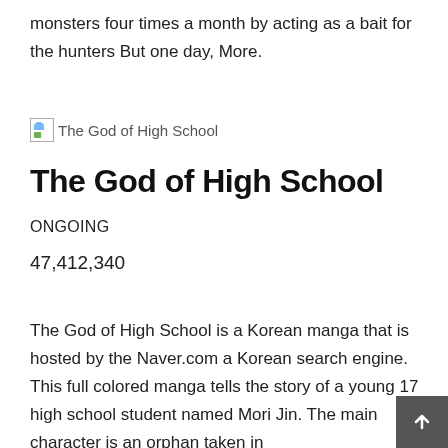monsters four times a month by acting as a bait for the hunters But one day, More.
[Figure (illustration): Broken image placeholder icon for The God of High School]
The God of High School
ONGOING
47,412,340
The God of High School is a Korean manga that is hosted by the Naver.com a Korean search engine. This full colored manga tells the story of a young 17 high school student named Mori Jin. The main character is an orphan taken in